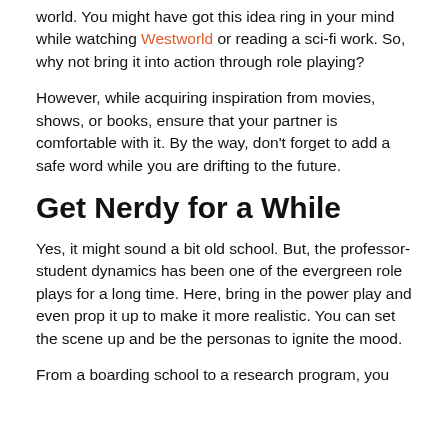world. You might have got this idea ring in your mind while watching Westworld or reading a sci-fi work. So, why not bring it into action through role playing?
However, while acquiring inspiration from movies, shows, or books, ensure that your partner is comfortable with it. By the way, don't forget to add a safe word while you are drifting to the future.
Get Nerdy for a While
Yes, it might sound a bit old school. But, the professor-student dynamics has been one of the evergreen role plays for a long time. Here, bring in the power play and even prop it up to make it more realistic. You can set the scene up and be the personas to ignite the mood.
From a boarding school to a research program, you